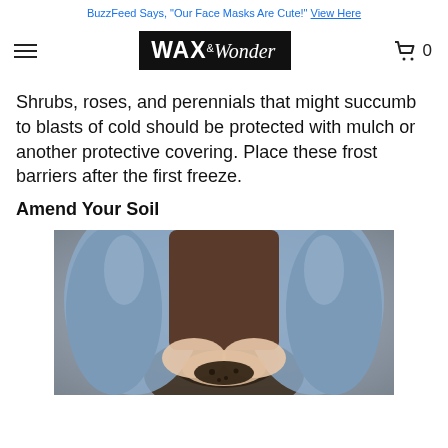BuzzFeed Says, "Our Face Masks Are Cute!" View Here
[Figure (logo): WAX & Wonder logo in white text on black background, with navigation hamburger menu on left and shopping cart icon showing 0 on right]
Shrubs, roses, and perennials that might succumb to blasts of cold should be protected with mulch or another protective covering. Place these frost barriers after the first freeze.
Amend Your Soil
[Figure (photo): Close-up photo of a person in blue jeans kneeling, holding dark soil in their hands]